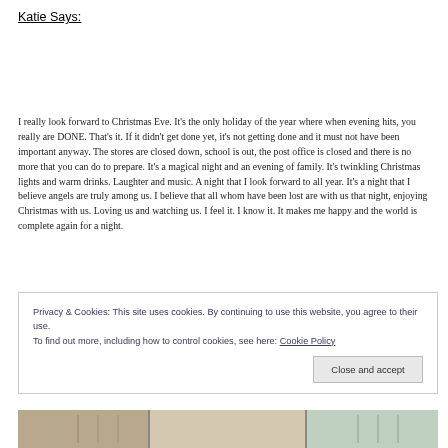Katie Says:
I really look forward to Christmas Eve. It's the only holiday of the year where when evening hits, you really are DONE. That's it. If it didn't get done yet, it's not getting done and it must not have been important anyway. The stores are closed down, school is out, the post office is closed and there is no more that you can do to prepare. It's a magical night and an evening of family. It's twinkling Christmas lights and warm drinks. Laughter and music. A night that I look forward to all year. It's a night that I believe angels are truly among us. I believe that all whom have been lost are with us that night, enjoying Christmas with us. Loving us and watching us. I feel it. I know it. It makes me happy and the world is complete again for a night.
Privacy & Cookies: This site uses cookies. By continuing to use this website, you agree to their use.
To find out more, including how to control cookies, see here: Cookie Policy
[Figure (photo): Partial view of a decorative photo bar at the bottom of the page]